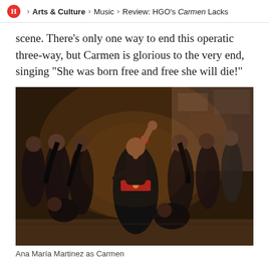H > Arts & Culture > Music > Review: HGO's Carmen Lacks
scene. There’s only one way to end this operatic three-way, but Carmen is glorious to the very end, singing “She was born free and free she will die!”
[Figure (photo): Opera stage performance showing Ana María Martínez as Carmen in a black dress with red flower in hair, arm raised, surrounded by ensemble cast in black costumes on a dramatic stage set]
Ana María Martinez as Carmen